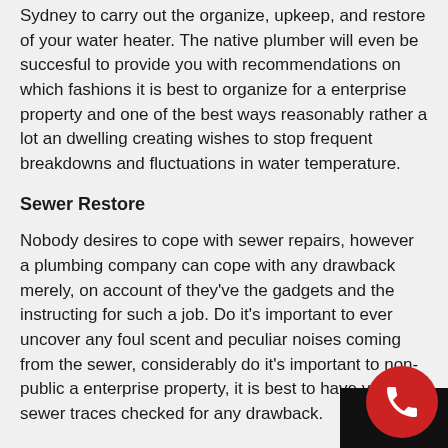Sydney to carry out the organize, upkeep, and restore of your water heater. The native plumber will even be succesful to provide you with recommendations on which fashions it is best to organize for a enterprise property and one of the best ways reasonably rather a lot an dwelling creating wishes to stop frequent breakdowns and fluctuations in water temperature.
Sewer Restore
Nobody desires to cope with sewer repairs, however a plumbing company can cope with any drawback merely, on account of they've the gadgets and the instructing for such a job. Do it's important to ever uncover any foul scent and peculiar noises coming from the sewer, considerably do it's important to non-public a enterprise property, it is best to have your sewer traces checked for any drawback.
Our expert local plumber are ready to coping with any residence or enterprise plumbing job, no matter its measurement. We're correct proper right here for you for any emergency scenario 24 hours a day, 7 days